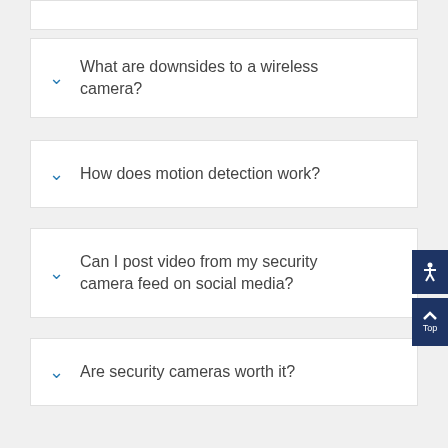What are downsides to a wireless camera?
How does motion detection work?
Can I post video from my security camera feed on social media?
Are security cameras worth it?